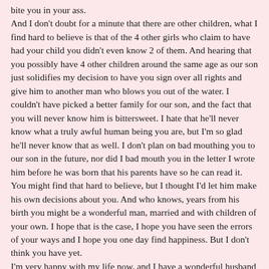bite you in your ass. And I don't doubt for a minute that there are other children, what I find hard to believe is that of the 4 other girls who claim to have had your child you didn't even know 2 of them. And hearing that you possibly have 4 other children around the same age as our son just solidifies my decision to have you sign over all rights and give him to another man who blows you out of the water. I couldn't have picked a better family for our son, and the fact that you will never know him is bittersweet. I hate that he'll never know what a truly awful human being you are, but I'm so glad he'll never know that as well. I don't plan on bad mouthing you to our son in the future, nor did I bad mouth you in the letter I wrote him before he was born that his parents have so he can read it. You might find that hard to believe, but I thought I'd let him make his own decisions about you. And who knows, years from his birth you might be a wonderful man, married and with children of your own. I hope that is the case, I hope you have seen the errors of your ways and I hope you one day find happiness. But I don't think you have yet. I'm very happy with my life now, and I have a wonderful husband now, and he'll make a better father than you will probably ever make. So thank you for being you, and giving me a beautiful son